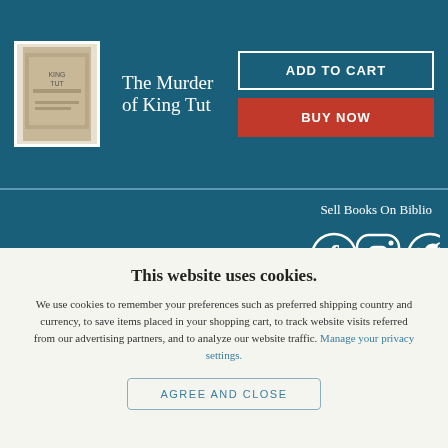[Figure (illustration): Book cover thumbnail for 'The Murder of King Tut']
The Murder of King Tut
ADD TO CART
BUY NOW
Sell Books On Biblio
[Figure (logo): Social media icons: Facebook, Instagram, Twitter]
Privacy & Security | Website Accessibility | Terms & Conditions
This website uses cookies.
We use cookies to remember your preferences such as preferred shipping country and currency, to save items placed in your shopping cart, to track website visits referred from our advertising partners, and to analyze our website traffic. Manage your privacy settings.
AGREE AND CLOSE